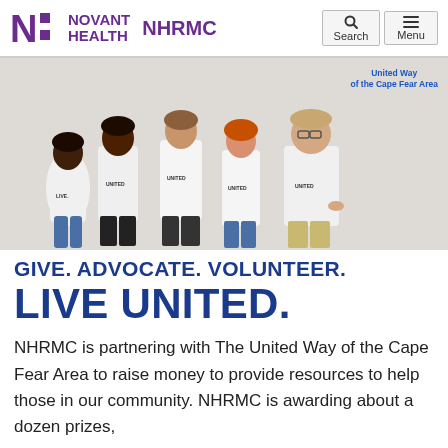Novant Health NHRMC
[Figure (photo): Five people wearing white 'UNITED' t-shirts standing together, with United Way of the Cape Fear Area logo in upper right corner]
GIVE. ADVOCATE. VOLUNTEER. LIVE UNITED.
NHRMC is partnering with The United Way of the Cape Fear Area to raise money to provide resources to help those in our community. NHRMC is awarding about a dozen prizes,